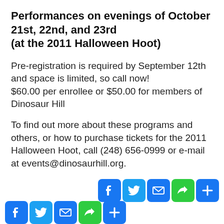Performances on evenings of October 21st, 22nd, and 23rd (at the 2011 Halloween Hoot)
Pre-registration is required by September 12th and space is limited, so call now!
$60.00 per enrollee or $50.00 for members of Dinosaur Hill
To find out more about these programs and others, or how to purchase tickets for the 2011 Halloween Hoot, call (248) 656-0999 or e-mail at events@dinosaurhill.org.
[Figure (other): Social media sharing icons: Facebook, Twitter, Email, Link/Share, Plus button]